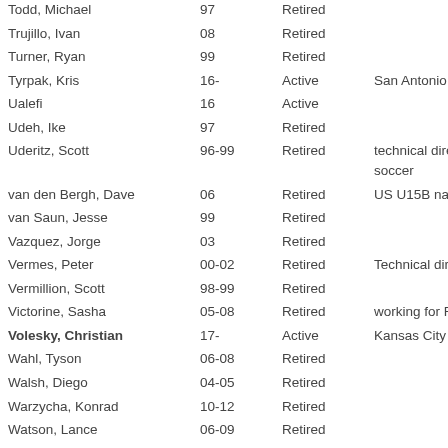| Name | Years | Status | Notes |
| --- | --- | --- | --- |
| Todd, Michael | 97 | Retired |  |
| Trujillo, Ivan | 08 | Retired |  |
| Turner, Ryan | 99 | Retired |  |
| Tyrpak, Kris | 16- | Active | San Antonio F... |
| Ualefi | 16 | Active |  |
| Udeh, Ike | 97 | Retired |  |
| Uderitz, Scott | 96-99 | Retired | technical director soccer |
| van den Bergh, Dave | 06 | Retired | US U15B natio... |
| van Saun, Jesse | 99 | Retired |  |
| Vazquez, Jorge | 03 | Retired |  |
| Vermes, Peter | 00-02 | Retired | Technical direc... |
| Vermillion, Scott | 98-99 | Retired |  |
| Victorine, Sasha | 05-08 | Retired | working for Fa... |
| Volesky, Christian | 17- | Active | Kansas City |
| Wahl, Tyson | 06-08 | Retired |  |
| Walsh, Diego | 04-05 | Retired |  |
| Warzycha, Konrad | 10-12 | Retired |  |
| Watson, Lance | 06-09 | Retired |  |
| Webster, Pablo | 01 | Retired |  |
| Wellington, Phil | 96 | Retired |  |
| William, Yomby | 08 | Active | Richmond Kick... |
| Wilson, John | 99-00 | Retired |  |